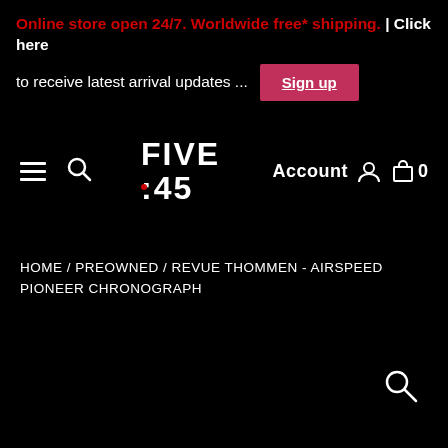Online store open 24/7. Worldwide free* shipping. | Click here to receive latest arrival updates ... Sign up
[Figure (logo): FIVE :45 logo in digital display font, white text on black background]
HOME / PREOWNED / REVUE THOMMEN - AIRSPEED PIONEER CHRONOGRAPH